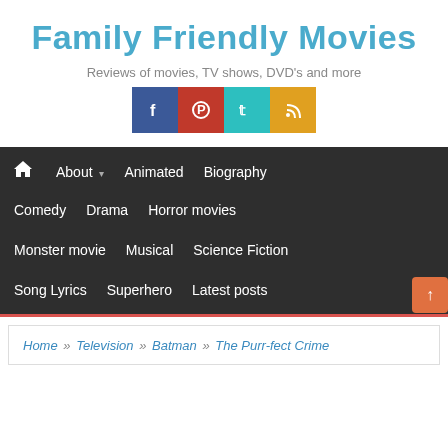Family Friendly Movies
Reviews of movies, TV shows, DVD's and more
[Figure (other): Social media icons: Facebook (blue), Pinterest (red), Twitter (teal), RSS (orange)]
🏠 About ▾  Animated  Biography  Comedy  Drama  Horror movies  Monster movie  Musical  Science Fiction  Song Lyrics  Superhero  Latest posts
Home » Television » Batman » The Purr-fect Crime